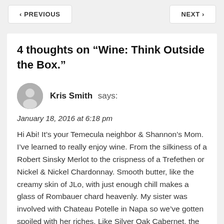< PREVIOUS    NEXT >
4 thoughts on “Wine: Think Outside the Box.”
Kris Smith says:
January 18, 2016 at 6:18 pm
Hi Abi! It’s your Temecula neighbor & Shannon’s Mom. I’ve learned to really enjoy wine. From the silkiness of a Robert Sinsky Merlot to the crispness of a Trefethen or Nickel & Nickel Chardonnay. Smooth butter, like the creamy skin of JLo, with just enough chill makes a glass of Rombauer chard heavenly. My sister was involved with Chateau Potelle in Napa so we’ve gotten spoiled with her riches. Like Silver Oak Cabernet, the